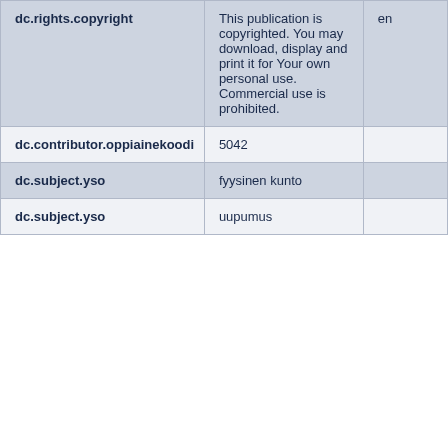| dc.rights.copyright | This publication is copyrighted. You may download, display and print it for Your own personal use. Commercial use is prohibited. | en |
| dc.contributor.oppiainekoodi | 5042 |  |
| dc.subject.yso | fyysinen kunto |  |
| dc.subject.yso | uupumus |  |